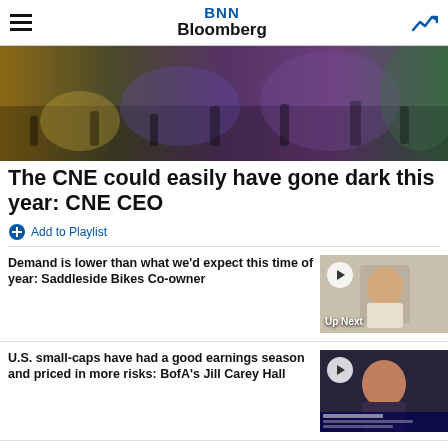BNN Bloomberg
[Figure (photo): Crowd scene at the CNE (Canadian National Exhibition), colorful indoor fair with people and stalls]
The CNE could easily have gone dark this year: CNE CEO
Add to Playlist
Demand is lower than what we'd expect this time of year: Saddleside Bikes Co-owner
[Figure (screenshot): Video thumbnail showing a young person, with 'Up Next' label and play button overlay]
U.S. small-caps have had a good earnings season and priced in more risks: BofA's Jill Carey Hall
[Figure (screenshot): Video thumbnail showing Jill Carey Hall, BofA Securities strategist, on The Close segment]
BNN Bloomberg's closing bell update: August 19, 2022